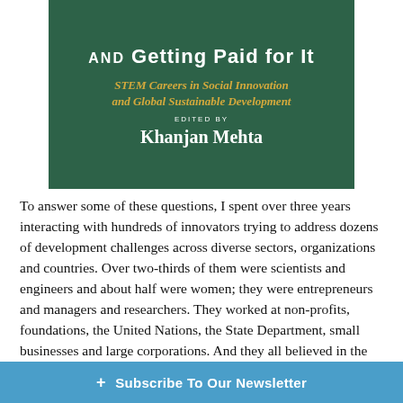[Figure (illustration): Book cover for 'Solving Problems That Matter (and Getting Paid for It): STEM Careers in Social Innovation and Global Sustainable Development', edited by Khanjan Mehta. Dark green background with white and gold text.]
To answer some of these questions, I spent over three years interacting with hundreds of innovators trying to address dozens of development challenges across diverse sectors, organizations and countries. Over two-thirds of them were scientists and engineers and about half were women; they were entrepreneurs and managers and researchers. They worked at non-profits, foundations, the United Nations, the State Department, small businesses and large corporations. And they all believed in the power of science, technology and innovation to solve societal challenges.
With the help of an excellent editorial team, I turned these conversations into a 400-page book, Solving Problems That Matter (and Getting Paid for It), which includes 54 expert briefs penn... Corps, MIT, Engin...